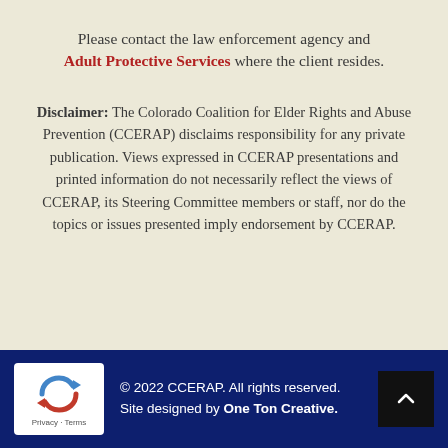Please contact the law enforcement agency and Adult Protective Services where the client resides.
Disclaimer: The Colorado Coalition for Elder Rights and Abuse Prevention (CCERAP) disclaims responsibility for any private publication. Views expressed in CCERAP presentations and printed information do not necessarily reflect the views of CCERAP, its Steering Committee members or staff, nor do the topics or issues presented imply endorsement by CCERAP.
© 2022 CCERAP. All rights reserved. Site designed by One Ton Creative.